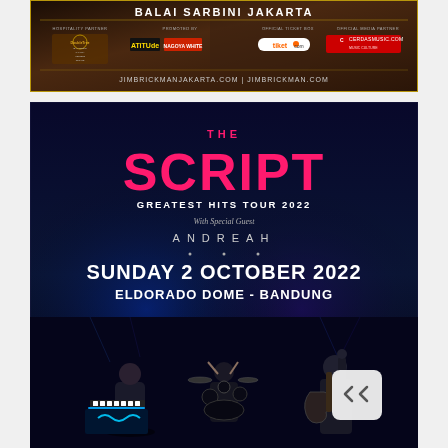[Figure (illustration): Concert advertisement banner for Jim Brickman at Balai Sarbini Jakarta showing piano player background, sponsor logos (Doubletree, Attitude, Nagoya White, Tiket.com, Cerdas Music) and website JIMBRICKMANJAKARTA.COM | JIMBRICKMAN.COM]
[Figure (illustration): Concert poster for The Script Greatest Hits Tour 2022 with Special Guest Andreah, Sunday 2 October 2022, Eldorado Dome - Bandung. Dark blue background with band performing on stage at bottom.]